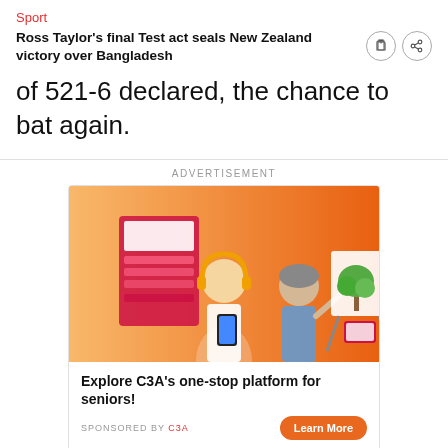Sport
Ross Taylor's final Test act seals New Zealand victory over Bangladesh
of 521-6 declared, the chance to bat again.
ADVERTISEMENT
[Figure (photo): C3A advertisement showing two seniors using digital devices with orange background, URL www.c3a.org.sg, tagline Explore C3A's one-stop platform for seniors!, sponsored by C3A with Learn More button.]